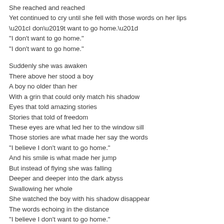She reached and reached
Yet continued to cry until she fell with those words on her lips
“I don’t want to go home.”
“I don’t want to go home.”

Suddenly she was awaken
There above her stood a boy
A boy no older than her
With a grin that could only match his shadow
Eyes that told amazing stories
Stories that told of freedom
These eyes are what led her to the window sill
Those stories are what made her say the words
“I believe I don’t want to go home.”
And his smile is what made her jump
But instead of flying she was falling
Deeper and deeper into the dark abyss
Swallowing her whole
She watched the boy with his shadow disappear
The words echoing in the distance
“I believe I don’t want to go home.”